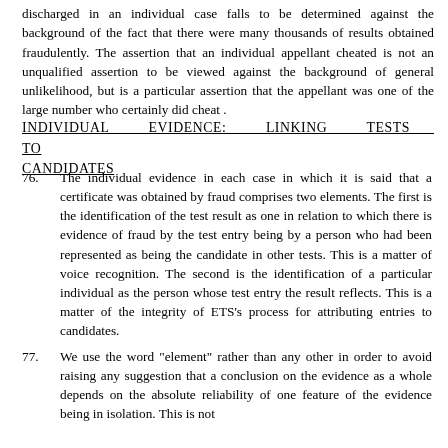discharged in an individual case falls to be determined against the background of the fact that there were many thousands of results obtained fraudulently. The assertion that an individual appellant cheated is not an unqualified assertion to be viewed against the background of general unlikelihood, but is a particular assertion that the appellant was one of the large number who certainly did cheat .
INDIVIDUAL EVIDENCE: LINKING TESTS TO CANDIDATES
76.    The individual evidence in each case in which it is said that a certificate was obtained by fraud comprises two elements. The first is the identification of the test result as one in relation to which there is evidence of fraud by the test entry being by a person who had been represented as being the candidate in other tests. This is a matter of voice recognition. The second is the identification of a particular individual as the person whose test entry the result reflects. This is a matter of the integrity of ETS's process for attributing entries to candidates.
77.    We use the word "element" rather than any other in order to avoid raising any suggestion that a conclusion on the evidence as a whole depends on the absolute reliability of one feature of the evidence being in isolation. This is not